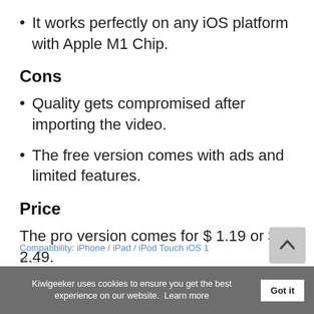It works perfectly on any iOS platform with Apple M1 Chip.
Cons
Quality gets compromised after importing the video.
The free version comes with ads and limited features.
Price
The pro version comes for $ 1.19 or $ 2.49.
Compatibility: iPhone / iPad / iPod Touch iOS 1
or ...
Kiwigeeker uses cookies to ensure you get the best experience on our website.  Learn more  Got it